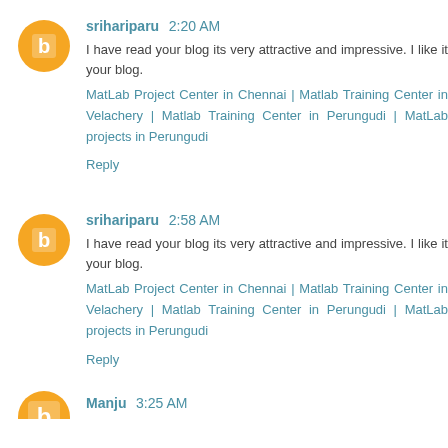srihariparu 2:20 AM
I have read your blog its very attractive and impressive. I like it your blog.
MatLab Project Center in Chennai | Matlab Training Center in Velachery | Matlab Training Center in Perungudi | MatLab projects in Perungudi
Reply
srihariparu 2:58 AM
I have read your blog its very attractive and impressive. I like it your blog.
MatLab Project Center in Chennai | Matlab Training Center in Velachery | Matlab Training Center in Perungudi | MatLab projects in Perungudi
Reply
Manju 3:25 AM